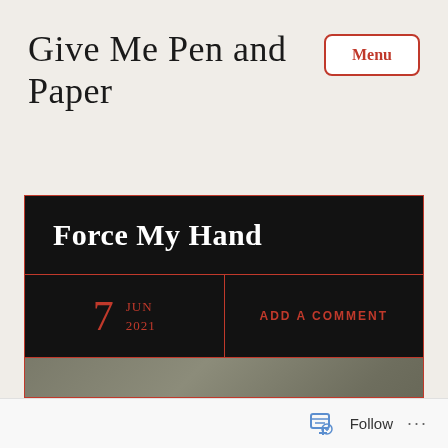Give Me Pen and Paper
Force My Hand
7 JUN 2021
ADD A COMMENT
[Figure (photo): Blurred grey-green gradient background image]
Follow ...